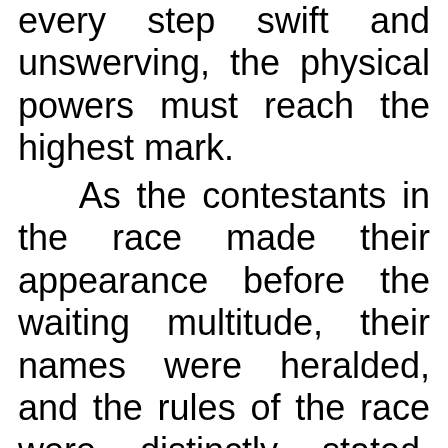every step swift and unswerving, the physical powers must reach the highest mark.
As the contestants in the race made their appearance before the waiting multitude, their names were heralded, and the rules of the race were distinctly stated. Then they all started together, the fixed attention of the spectators inspiring them with a